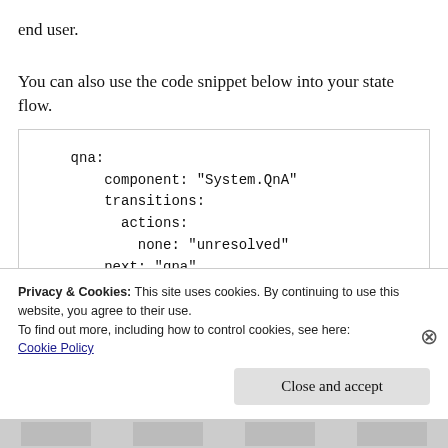end user.
You can also use the code snippet below into your state flow.
qna:
    component: "System.QnA"
    transitions:
      actions:
        none: "unresolved"
    next: "qna"
Privacy & Cookies: This site uses cookies. By continuing to use this website, you agree to their use.
To find out more, including how to control cookies, see here:
Cookie Policy
Close and accept